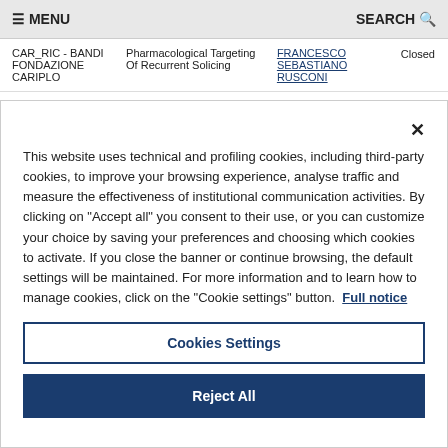≡ MENU   SEARCH 🔍
|  |  |  |  |
| --- | --- | --- | --- |
| CAR_RIC - BANDI FONDAZIONE CARIPLO | Pharmacological Targeting Of Recurrent Solicing | FRANCESCO SEBASTIANO RUSCONI | Closed |
This website uses technical and profiling cookies, including third-party cookies, to improve your browsing experience, analyse traffic and measure the effectiveness of institutional communication activities. By clicking on "Accept all" you consent to their use, or you can customize your choice by saving your preferences and choosing which cookies to activate. If you close the banner or continue browsing, the default settings will be maintained. For more information and to learn how to manage cookies, click on the "Cookie settings" button. Full notice
Cookies Settings
Reject All